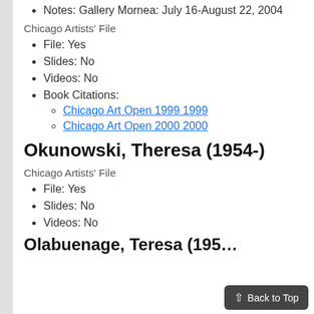Notes: Gallery Mornea: July 16-August 22, 2004
Chicago Artists' File
File: Yes
Slides: No
Videos: No
Book Citations:
Chicago Art Open 1999 1999
Chicago Art Open 2000 2000
Okunowski, Theresa (1954-)
Chicago Artists' File
File: Yes
Slides: No
Videos: No
Olabuenage, Teresa (195…